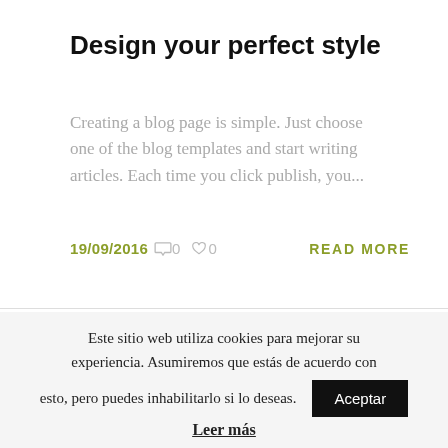Design your perfect style
Creating a blog page is simple. Just choose one of the blog templates and start writing articles. Each time you click publish, you...
19/09/2016  ○ 0  ♡ 0    READ MORE
Este sitio web utiliza cookies para mejorar su experiencia. Asumiremos que estás de acuerdo con esto, pero puedes inhabilitarlo si lo deseas.  Aceptar
Leer más